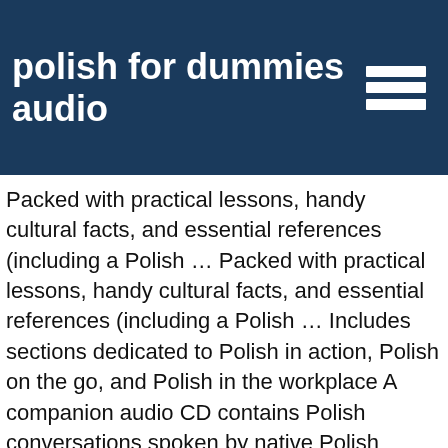polish for dummies audio
Packed with practical lessons, handy cultural facts, and essential references (including a Polish … Packed with practical lessons, handy cultural facts, and essential references (including a Polish … Includes sections dedicated to Polish in action, Polish on the go, and Polish in the workplace A companion audio CD contains Polish conversations spoken by native Polish speakers in a variety of everyday contexts, perfect for learning Polish on the go A Polish … The ultimate quick and easy guide to learning Polish. Polish can be a difficult language to master. Polish For Dummies › Customer reviews … Work through this at your own pace or dip into sections as you wish in conjunction with the audio CD and you will be speaking effective Polish quickly.. Read more. 7 … It is pronounced phonetically and has several unique characters in its alphabet,